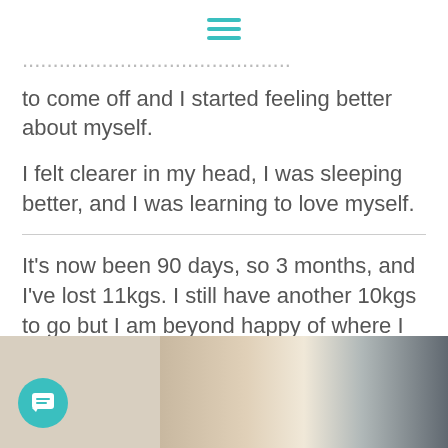hamburger menu icon
to come off and I started feeling better about myself.
I felt clearer in my head, I was sleeping better, and I was learning to love myself.
It’s now been 90 days, so 3 months, and I’ve lost 11kgs. I still have another 10kgs to go but I am beyond happy of where I am at. And proud of myself for sticking to it.
[Figure (photo): Partial photo showing what appears to be a mirror or frame edge, cut off at bottom of page]